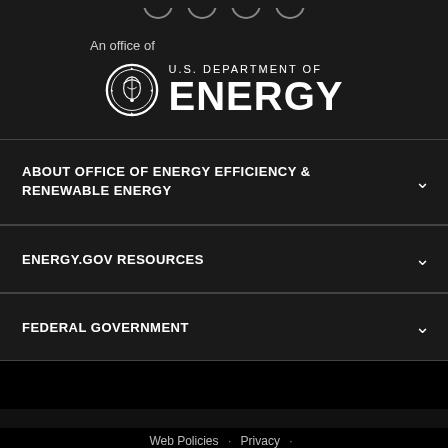[Figure (logo): Social media icon circles (partially visible at top)]
An office of
[Figure (logo): U.S. Department of Energy logo with seal and text]
ABOUT OFFICE OF ENERGY EFFICIENCY & RENEWABLE ENERGY
ENERGY.GOV RESOURCES
FEDERAL GOVERNMENT
Web Policies · Privacy ·